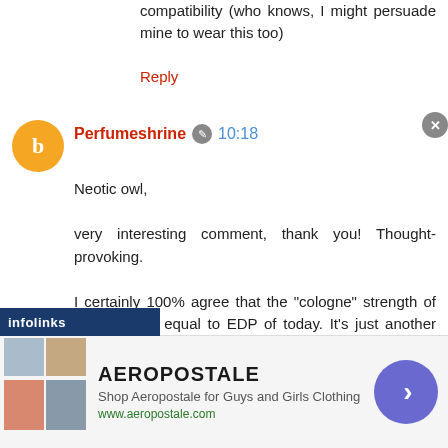compatibility (who knows, I might persuade mine to wear this too)
Reply
Perfumeshrine 10:18
Neotic owl,

very interesting comment, thank you! Thought-provoking.

I certainly 100% agree that the "cologne" strength of old is totally equal to EDP of today. It's just another sign of the dumping down of the industry, where they charge $$ for what is essentially very weak juice. The jus is weak to begin with and therefore the concentration doesn't make much sense in the end product.
[Figure (screenshot): Aeropostale advertisement banner with clothing images, store name, tagline 'Shop Aeropostale for Guys and Girls Clothing', website www.aeropostale.com, navigation arrow button, and infolinks branding bar]